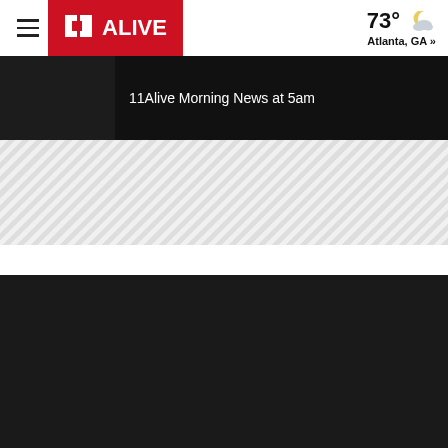11Alive navigation bar with hamburger menu, 11Alive logo, and weather: 73° Atlanta, GA »
11Alive Morning News at 5am
[Figure (screenshot): Diagonal striped loading/placeholder area]
[Figure (screenshot): Dark background content area]